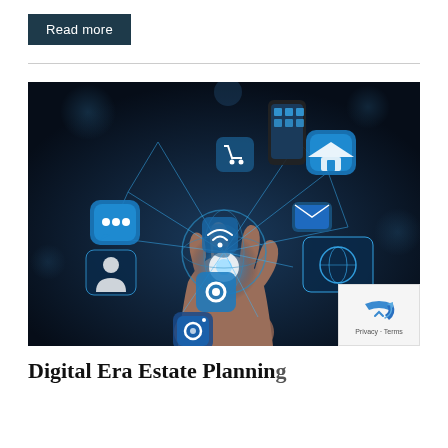Read more
[Figure (photo): Hand holding a glowing digital globe with various app icons and technology symbols floating above it, including social media, home, messaging, and settings icons, representing digital connectivity and technology.]
Digital Era Estate Planning